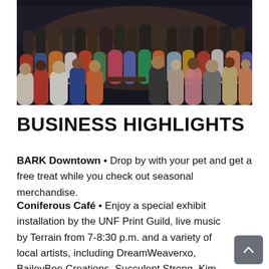[Figure (photo): Overhead/wide-angle photo of a large outdoor crowd of people gathered at tables and walking along a street or plaza at night or dusk.]
BUSINESS HIGHLIGHTS
BARK Downtown • Drop by with your pet and get a free treat while you check out seasonal merchandise.
Coniferous Café • Enjoy a special exhibit installation by the UNF Print Guild, live music by Terrain from 7-8:30 p.m. and a variety of local artists, including DreamWeaverxo, BaileyBee Creations, Succulent Strong, Kim Wexler and Aunt Gwen.